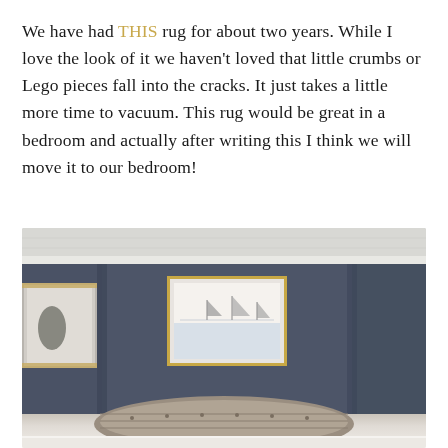We have had THIS rug for about two years. While I love the look of it we haven't loved that little crumbs or Lego pieces fall into the cracks. It just takes a little more time to vacuum. This rug would be great in a bedroom and actually after writing this I think we will move it to our bedroom!
[Figure (photo): A bedroom with dark navy/slate blue walls, white crown molding and ceiling. A framed artwork with a light scene hangs on the back wall inside a gold frame. Part of another framed black and white photo is visible on the left wall. A curved headboard of a bed is visible at the bottom, and white bedding is shown at the very bottom edge.]